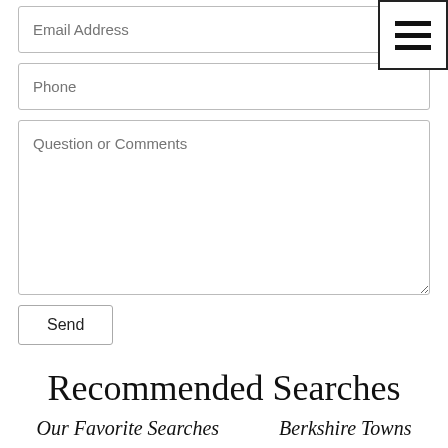[Figure (other): Hamburger menu icon button with three horizontal bars, bordered square in top-right corner]
Email Address
Phone
Question or Comments
Send
Recommended Searches
Our Favorite Searches    Berkshire Towns